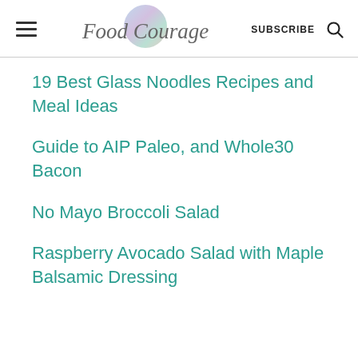Food Courage — SUBSCRIBE
19 Best Glass Noodles Recipes and Meal Ideas
Guide to AIP Paleo, and Whole30 Bacon
No Mayo Broccoli Salad
Raspberry Avocado Salad with Maple Balsamic Dressing